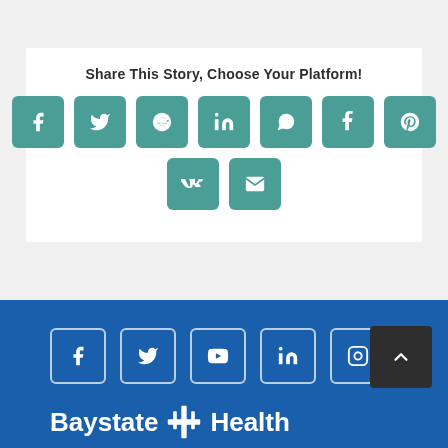Share This Story, Choose Your Platform!
[Figure (infographic): Social sharing buttons: Facebook, Twitter, Reddit, LinkedIn, WhatsApp, Tumblr, Pinterest, VK, Email]
[Figure (infographic): Footer social media icons: Facebook, Twitter, YouTube, LinkedIn, Instagram, and back-to-top button]
Baystate Health (logo text in footer)